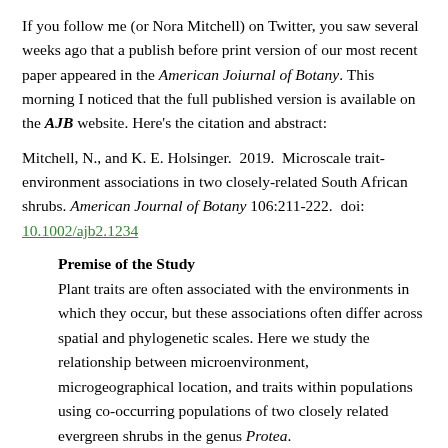If you follow me (or Nora Mitchell) on Twitter, you saw several weeks ago that a publish before print version of our most recent paper appeared in the American Joiurnal of Botany. This morning I noticed that the full published version is available on the AJB website. Here's the citation and abstract:
Mitchell, N., and K. E. Holsinger. 2019. Microscale trait-environment associations in two closely-related South African shrubs. American Journal of Botany 106:211-222. doi: 10.1002/ajb2.1234
Premise of the Study
Plant traits are often associated with the environments in which they occur, but these associations often differ across spatial and phylogenetic scales. Here we study the relationship between microenvironment, microgeographical location, and traits within populations using co-occurring populations of two closely related evergreen shrubs in the genus Protea.
Methods
We measured a suite of functional traits on 147 plants along a